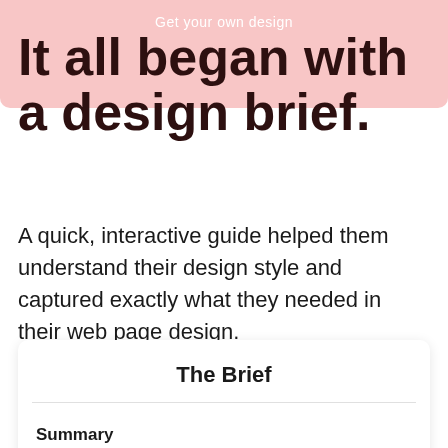Get your own design
It all began with a design brief.
A quick, interactive guide helped them understand their design style and captured exactly what they needed in their web page design.
The Brief
Summary
Using our new logo, we want to redesign our eBay Auction Page template and eBay Store design.